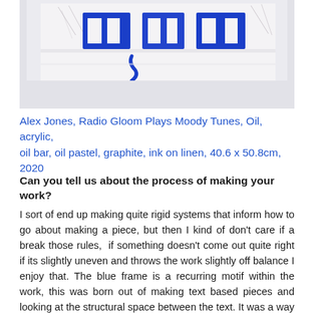[Figure (photo): Partial view of an artwork by Alex Jones showing blue painted text/shapes on linen with graphite drawing elements visible at the top]
Alex Jones, Radio Gloom Plays Moody Tunes, Oil, acrylic, oil bar, oil pastel, graphite, ink on linen, 40.6 x 50.8cm, 2020
Can you tell us about the process of making your work?
I sort of end up making quite rigid systems that inform how to go about making a piece, but then I kind of don't care if a break those rules,  if something doesn't come out quite right if its slightly uneven and throws the work slightly off balance I enjoy that. The blue frame is a recurring motif within the work, this was born out of making text based pieces and looking at the structural space between the text. It was a way for me to make something that felt and to share something that it also raises a bar, something that felt